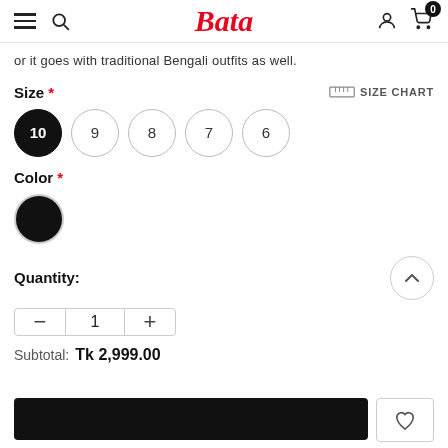Bata
or it goes with traditional Bengali outfits as well.
Size * SIZE CHART
10 9 8 7 6
Color *
Quantity:
- 1 +
Subtotal: Tk 2,999.00